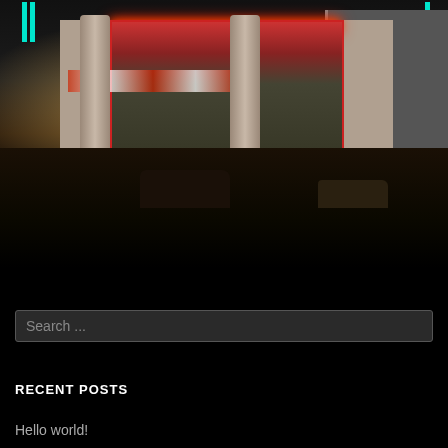[Figure (photo): Night photo of a building exterior, likely a casino or entertainment venue, with teal neon lights at top, red neon strip, large glass facade with illuminated interior, decorative Native American pattern band, concrete columns lit with warm uplighting, and cars parked in the foreground lot]
Search ...
RECENT POSTS
Hello world!